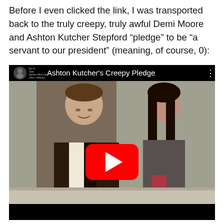Before I even clicked the link, I was transported back to the truly creepy, truly awful Demi Moore and Ashton Kutcher Stepford “pledge” to be “a servant to our president” (meaning, of course, 0):
[Figure (screenshot): YouTube video embed thumbnail showing 'Ashton Kutcher's Creepy Pledge' with two people standing side by side — a man in a patterned jacket on the left and a woman with long dark hair on the right. A large red YouTube play button is centered over the image.]